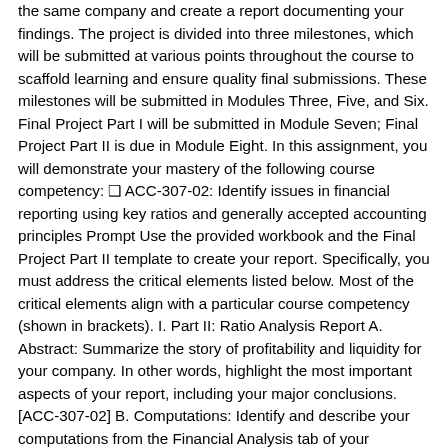the same company and create a report documenting your findings. The project is divided into three milestones, which will be submitted at various points throughout the course to scaffold learning and ensure quality final submissions. These milestones will be submitted in Modules Three, Five, and Six. Final Project Part I will be submitted in Module Seven; Final Project Part II is due in Module Eight. In this assignment, you will demonstrate your mastery of the following course competency: ❑ ACC-307-02: Identify issues in financial reporting using key ratios and generally accepted accounting principles Prompt Use the provided workbook and the Final Project Part II template to create your report. Specifically, you must address the critical elements listed below. Most of the critical elements align with a particular course competency (shown in brackets). I. Part II: Ratio Analysis Report A. Abstract: Summarize the story of profitability and liquidity for your company. In other words, highlight the most important aspects of your report, including your major conclusions. [ACC-307-02] B. Computations: Identify and describe your computations from the Financial Analysis tab of your workbook. Be sure to format your key results in table or graphical format, as appropriate. Explain why each cited figure was included in your report in terms of its importance for the organization. [ACC-307-02] C. Comparison: Evaluate the financials of the company by comparing current ratios to both